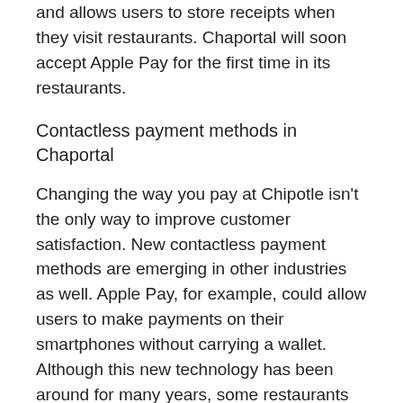and allows users to store receipts when they visit restaurants. Chaportal will soon accept Apple Pay for the first time in its restaurants.
Contactless payment methods in Chaportal
Changing the way you pay at Chipotle isn't the only way to improve customer satisfaction. New contactless payment methods are emerging in other industries as well. Apple Pay, for example, could allow users to make payments on their smartphones without carrying a wallet. Although this new technology has been around for many years, some restaurants still rely on traditional magnetic strips. Changing the way you pay can keep your customers happy and save you money.